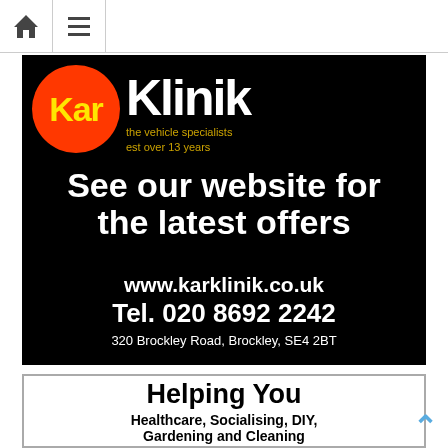[Figure (screenshot): Website navigation bar with home icon and hamburger menu icon]
[Figure (illustration): KarKlinik advertisement on black background. Contains KarKlinik logo (red circle with yellow 'Kar' text and white 'Klinik' text), tagline 'the vehicle specialists est over 13 years', headline 'See our website for the latest offers', URL www.karklinik.co.uk, Tel. 020 8692 2242, address 320 Brockley Road, Brockley, SE4 2BT]
[Figure (illustration): Bottom advertisement with text 'Helping You', 'Healthcare, Socialising, DIY, Gardening and Cleaning' on white background with grey border]